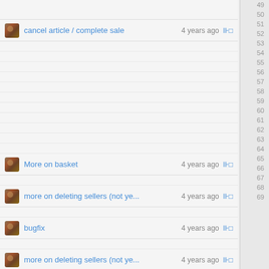cancel article / complete sale — 4 years ago — line 51
More on basket — 4 years ago — line 63
more on deleting sellers (not ye... — 4 years ago — line 65
bugfix — 4 years ago — line 67
more on deleting sellers (not ye... — 4 years ago — line 69